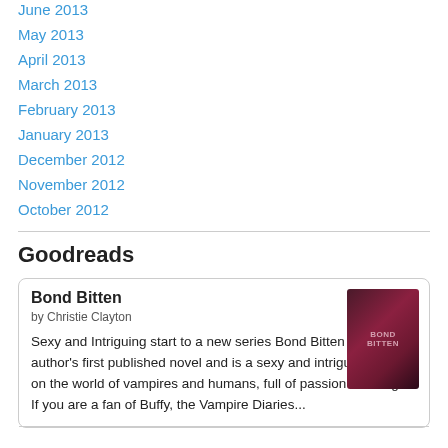June 2013
May 2013
April 2013
March 2013
February 2013
January 2013
December 2012
November 2012
October 2012
Goodreads
Bond Bitten
by Christie Clayton
Sexy and Intriguing start to a new series Bond Bitten is the author's first published novel and is a sexy and intriguing take on the world of vampires and humans, full of passion and angst. If you are a fan of Buffy, the Vampire Diaries...